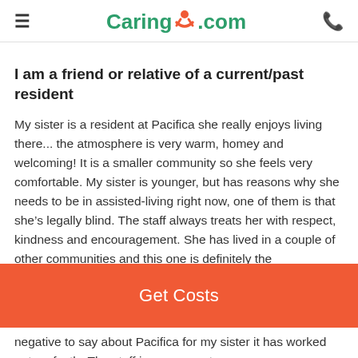Caring.com
I am a friend or relative of a current/past resident
My sister is a resident at Pacifica she really enjoys living there... the atmosphere is very warm, homey and welcoming! It is a smaller community so she feels very comfortable. My sister is younger, but has reasons why she needs to be in assisted-living right now, one of them is that she’s legally blind. The staff always treats her with respect, kindness and encouragement. She has lived in a couple of other communities and this one is definitely the
Get Costs
negative to say about Pacifica for my sister it has worked out perfectly. The staff is very open to